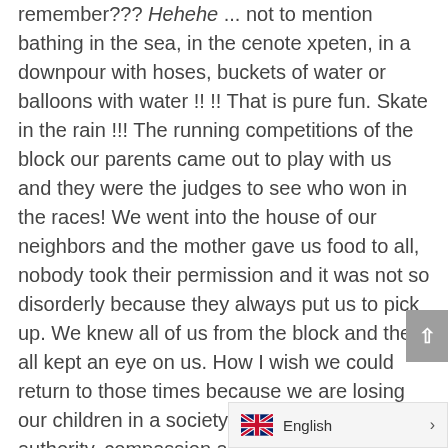remember??? Hehehe ... not to mention bathing in the sea, in the cenote xpeten, in a downpour with hoses, buckets of water or balloons with water !! !! That is pure fun. Skate in the rain !!! The running competitions of the block our parents came out to play with us and they were the judges to see who won in the races! We went into the house of our neighbors and the mother gave us food to all, nobody took their permission and it was not so disorderly because they always put us to pick up. We knew all of us from the block and they all kept an eye on us. How I wish we could return to those times because we are losing our children in a society without respect for authority, compassion and sensitivity for others. If this publication brought you beautiful memories, just copy and paste it on your wall to raise awareness that principles and respect and above all happiness are being lost. BEAUTIFUL MEMORIES